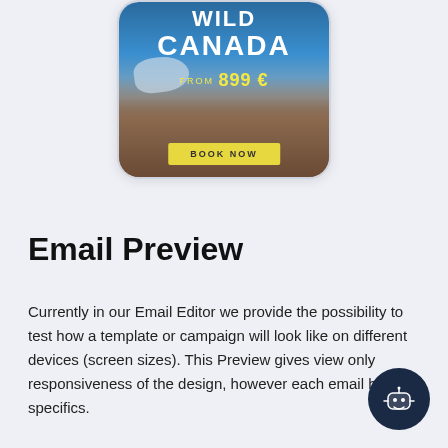[Figure (screenshot): A phone/device card mockup showing a travel advertisement for Wild Canada, with a mountain landscape background, text 'WILD CANADA FROM 899 €' and a 'BOOK NOW' button]
Email Preview
Currently in our Email Editor we provide the possibility to test how a template or campaign will look like on different devices (screen sizes). This Preview gives view only responsiveness of the design, however each email has its specifics.